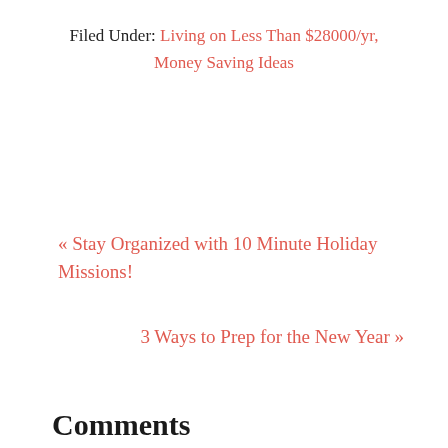Filed Under: Living on Less Than $28000/yr, Money Saving Ideas
« Stay Organized with 10 Minute Holiday Missions!
3 Ways to Prep for the New Year »
Comments